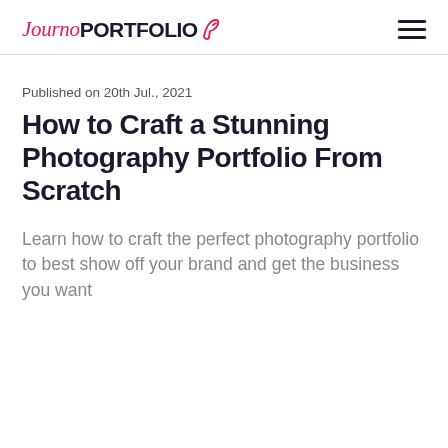JournoPORTFOLIO
Published on 20th Jul., 2021
How to Craft a Stunning Photography Portfolio From Scratch
Learn how to craft the perfect photography portfolio to best show off your brand and get the business you want